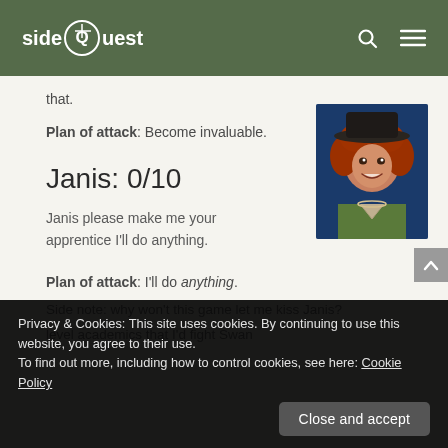sideQuest
that.
Plan of attack: Become invaluable.
Janis: 0/10
Janis please make me your apprentice I'll do anything.
[Figure (illustration): Illustrated character portrait of a young woman with curly red hair wearing a dark hat and green jacket, smiling, with a dark blue background.]
Plan of attack: I'll do anything.
Side note: why won't this game let me kiss Janis?
level academics that I'd fight Swan
Privacy & Cookies: This site uses cookies. By continuing to use this website, you agree to their use.
To find out more, including how to control cookies, see here: Cookie Policy
Close and accept